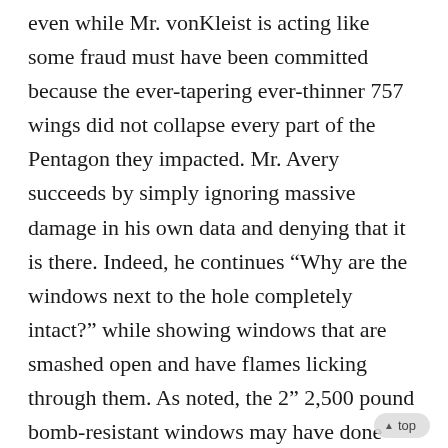even while Mr. vonKleist is acting like some fraud must have been committed because the ever-tapering ever-thinner 757 wings did not collapse every part of the Pentagon they impacted. Mr. Avery succeeds by simply ignoring massive damage in his own data and denying that it is there. Indeed, he continues “Why are the windows next to the hole completely intact?” while showing windows that are smashed open and have flames licking through them. As noted, the 2” 2,500 pound bomb-resistant windows may have done quite well while other windows not yet replaced were broken.